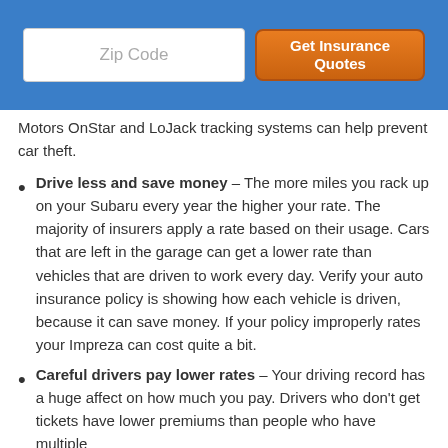Zip Code | Get Insurance Quotes
Motors OnStar and LoJack tracking systems can help prevent car theft.
Drive less and save money – The more miles you rack up on your Subaru every year the higher your rate. The majority of insurers apply a rate based on their usage. Cars that are left in the garage can get a lower rate than vehicles that are driven to work every day. Verify your auto insurance policy is showing how each vehicle is driven, because it can save money. If your policy improperly rates your Impreza can cost quite a bit.
Careful drivers pay lower rates – Your driving record has a huge affect on how much you pay. Drivers who don't get tickets have lower premiums than people who have multiple